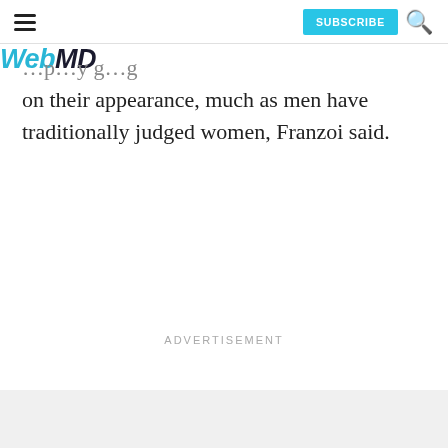WebMD — SUBSCRIBE
on their appearance, much as men have traditionally judged women, Franzoi said.
ADVERTISEMENT